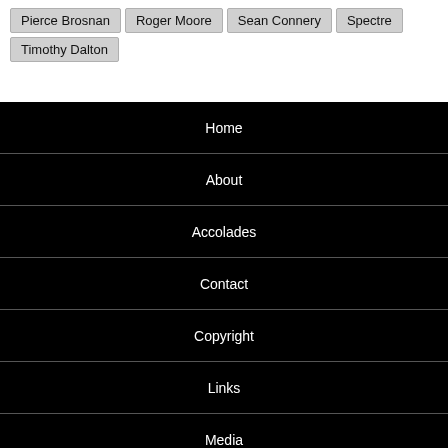Pierce Brosnan
Roger Moore
Sean Connery
Spectre
Timothy Dalton
Home
About
Accolades
Contact
Copyright
Links
Media